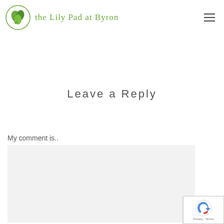the Lily Pad at Byron
Leave a Reply
My comment is..
[Figure (other): reCAPTCHA badge with Privacy and Terms links]